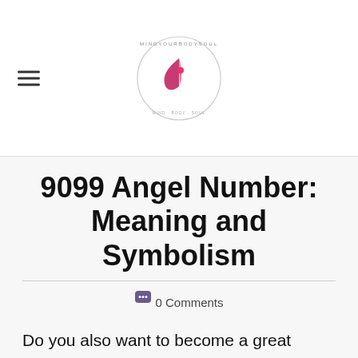MindYourBodySoul logo and navigation
9099 Angel Number: Meaning and Symbolism
0 Comments
Do you also want to become a great leader in your life? Developing good leadership abilities seem like a task to you. But your efforts are not giving any positive results. The angel